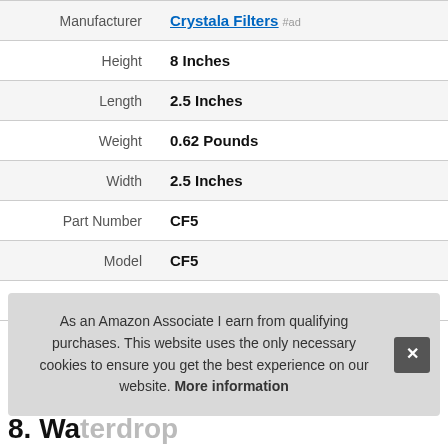| Attribute | Value |
| --- | --- |
| Manufacturer | Crystala Filters #ad |
| Height | 8 Inches |
| Length | 2.5 Inches |
| Weight | 0.62 Pounds |
| Width | 2.5 Inches |
| Part Number | CF5 |
| Model | CF5 |
| Warranty | NSF |
More information #ad
As an Amazon Associate I earn from qualifying purchases. This website uses the only necessary cookies to ensure you get the best experience on our website. More information
8. Waterdrop